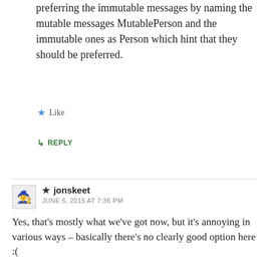preferring the immutable messages by naming the mutable messages MutablePerson and the immutable ones as Person which hint that they should be preferred.
★ Like
↳ REPLY
★ jonskeet
JUNE 6, 2015 AT 7:36 PM
Yes, that's mostly what we've got now, but it's annoying in various ways – basically there's no clearly good option here :(
★ Like
↳ REPLY